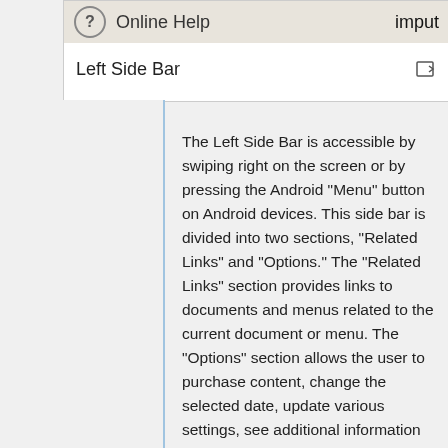[Figure (screenshot): Screenshot showing an 'Online Help' bar with a question mark icon and 'imput...' text cut off on the right, below which is a 'Left Side Bar' label with an expand icon.]
The Left Side Bar is accessible by swiping right on the screen or by pressing the Android "Menu" button on Android devices. This side bar is divided into two sections, "Related Links" and "Options." The "Related Links" section provides links to documents and menus related to the current document or menu. The "Options" section allows the user to purchase content, change the selected date, update various settings, see additional information about the selected season, and obtain online help information.
When in Document View, the Left Side Bar also displays the icon of the current document (if available) and features a